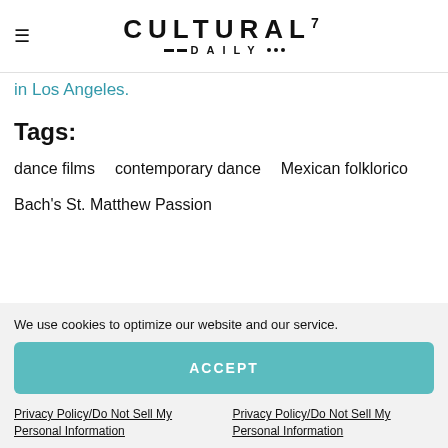CULTURAL7 DAILY
in Los Angeles.
Tags:
dance films
contemporary dance
Mexican folklorico
Bach's St. Matthew Passion
We use cookies to optimize our website and our service.
ACCEPT
Privacy Policy/Do Not Sell My Personal Information
Privacy Policy/Do Not Sell My Personal Information